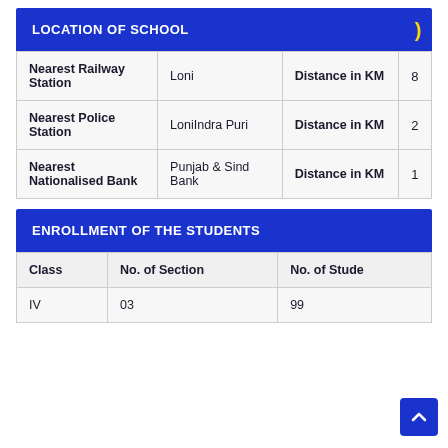LOCATION OF SCHOOL
|  |  | Distance Label | Distance Value |
| --- | --- | --- | --- |
| Nearest Railway Station | Loni | Distance in KM | 8 |
| Nearest Police Station | LoniIndra Puri | Distance in KM | 2 |
| Nearest Nationalised Bank | Punjab & Sind Bank | Distance in KM | 1 |
ENROLLMENT OF THE STUDENTS
| Class | No. of Section | No. of Students |
| --- | --- | --- |
| IV | 03 | 99 |